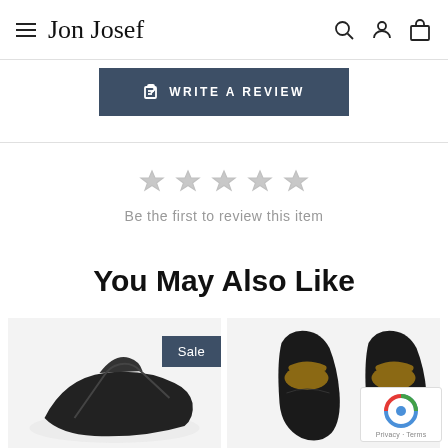Jon Josef
WRITE A REVIEW
[Figure (other): Five empty grey star rating icons]
Be the first to review this item
You May Also Like
[Figure (photo): Product image of black shoe with Sale badge]
[Figure (photo): Product image of black loafer shoes top view]